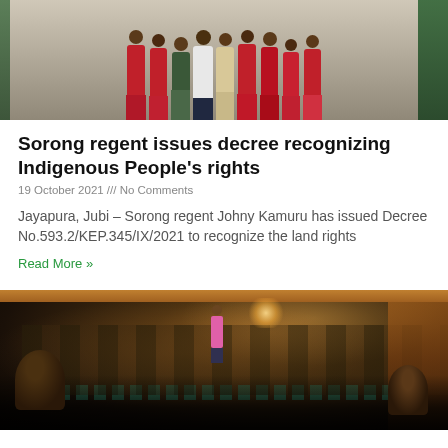[Figure (photo): Group of people in traditional red dress/attire standing together indoors, likely indigenous community members]
Sorong regent issues decree recognizing Indigenous People's rights
19 October 2021 /// No Comments
Jayapura, Jubi – Sorong regent Johny Kamuru has issued Decree No.593.2/KEP.345/IX/2021 to recognize the land rights
Read More »
[Figure (photo): Nighttime indoor crowd scene with many people seated on teal plastic chairs at a community gathering or event]